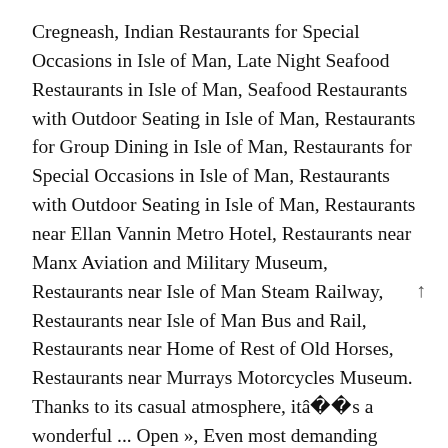Cregneash, Indian Restaurants for Special Occasions in Isle of Man, Late Night Seafood Restaurants in Isle of Man, Seafood Restaurants with Outdoor Seating in Isle of Man, Restaurants for Group Dining in Isle of Man, Restaurants for Special Occasions in Isle of Man, Restaurants with Outdoor Seating in Isle of Man, Restaurants near Ellan Vannin Metro Hotel, Restaurants near Manx Aviation and Military Museum, Restaurants near Isle of Man Steam Railway, Restaurants near Isle of Man Bus and Rail, Restaurants near Home of Rest of Old Horses, Restaurants near Murrays Motorcycles Museum. Thanks to its casual atmosphere, itâs a wonderful ... Open », Even most demanding gourmets will appreciate the variety of restaurants in Chester. Best Dining in Isle of Man, United Kingdom: See 30,201 Tripadvisor traveler reviews of 338 Isle of Man restaurants and decide on your dining destination.